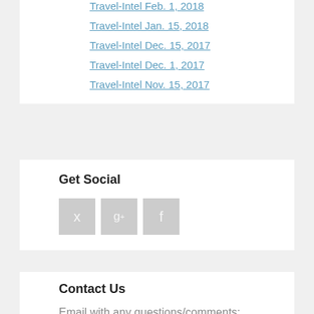Travel-Intel Feb. 1, 2018
Travel-Intel Jan. 15, 2018
Travel-Intel Dec. 15, 2017
Travel-Intel Dec. 1, 2017
Travel-Intel Nov. 15, 2017
Get Social
[Figure (other): Social media icons: Twitter (bird), Google+ (g+), Facebook (f)]
Contact Us
Email with any questions/comments:
lark@tours.com